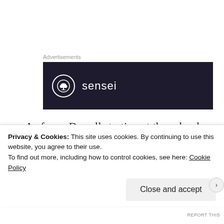Advertisements
[Figure (logo): Sensei logo on dark navy/dark purple background. A circle with a tree/bonsai icon and the text 'sensei' in white.]
As far as Darrell starting at the school goes, it's been explained that she and some of the others have changed schools.  It never did make sense how they arrived for the first year but some of the girls had already been there
Privacy & Cookies: This site uses cookies. By continuing to use this website, you agree to their use.
To find out more, including how to control cookies, see here: Cookie Policy
Close and accept